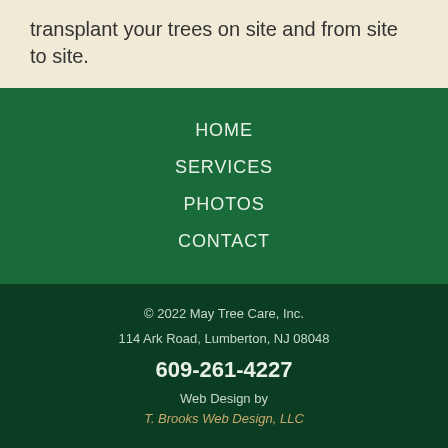transplant your trees on site and from site to site.
HOME
SERVICES
PHOTOS
CONTACT
© 2022 May Tree Care, Inc.
114 Ark Road, Lumberton, NJ 08048
609-261-4227
Web Design by
T. Brooks Web Design, LLC